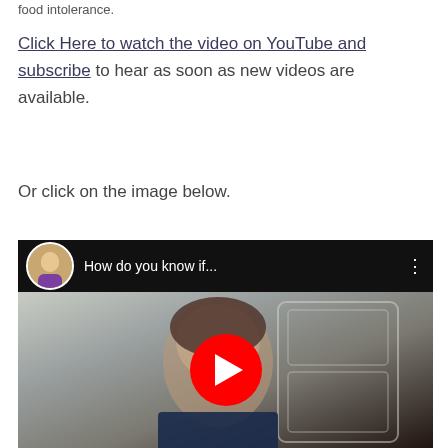food intolerance.
Click Here to watch the video on YouTube and subscribe to hear as soon as new videos are available.
Or click on the image below.
[Figure (screenshot): YouTube video embed showing a woman's face with a dark header bar displaying an avatar, the title 'How do you know if...' and a red YouTube play button overlay in the center]